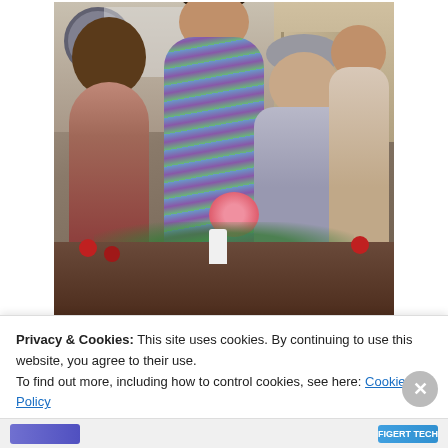[Figure (photo): Indoor family photo showing Olivia (centre) and her sister Rachel helping their great-grandmother blow out candles on a cake. An elderly woman holds a large pink flower. Another woman (Kathy) assists on the right. A table with red roses and greenery is in the foreground.]
Olivia (centre) and her sister Rachel helped their great-grandmother blow out the candles on her cake. Vivian's daughter Kathy(r) assists
Privacy & Cookies: This site uses cookies. By continuing to use this website, you agree to their use.
To find out more, including how to control cookies, see here: Cookie Policy